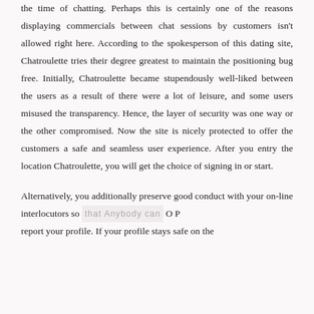the time of chatting. Perhaps this is certainly one of the reasons displaying commercials between chat sessions by customers isn't allowed right here. According to the spokesperson of this dating site, Chatroulette tries their degree greatest to maintain the positioning bug free. Initially, Chatroulette became stupendously well-liked between the users as a result of there were a lot of leisure, and some users misused the transparency. Hence, the layer of security was one way or the other compromised. Now the site is nicely protected to offer the customers a safe and seamless user experience. After you entry the location Chatroulette, you will get the choice of signing in or start.
Alternatively, you additionally preserve good conduct with your on-line interlocutors so that anybody can report your profile. If your profile stays safe on the